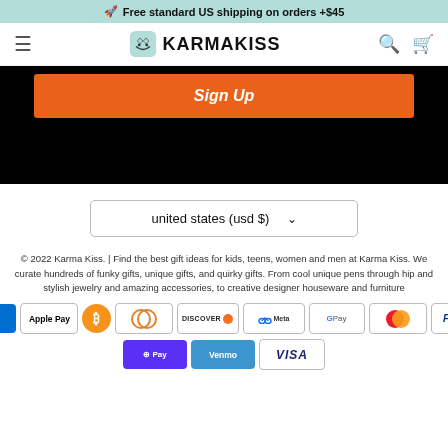🚀 Free standard US shipping on orders +$45
[Figure (logo): KarmaKiss logo with cat face icon and KARMAKISS text]
Sign Up
united states (usd $)
© 2022 Karma Kiss. | Find the best gift ideas for kids, teens, women and men at Karma Kiss. We curate hundreds of funky gifts, unique gifts, and quirky gifts. From cool unique pens through hip and stylish jewelry and amazing accessories, to creative designer houseware and furniture
[Figure (other): Payment method icons: American Express, Apple Pay, Bitcoin, Diners Club, Discover, Meta Pay, Google Pay, Mastercard, PayPal, Shop Pay, Venmo, Visa]